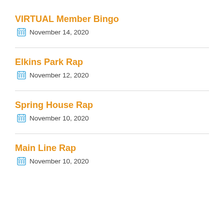VIRTUAL Member Bingo
November 14, 2020
Elkins Park Rap
November 12, 2020
Spring House Rap
November 10, 2020
Main Line Rap
November 10, 2020